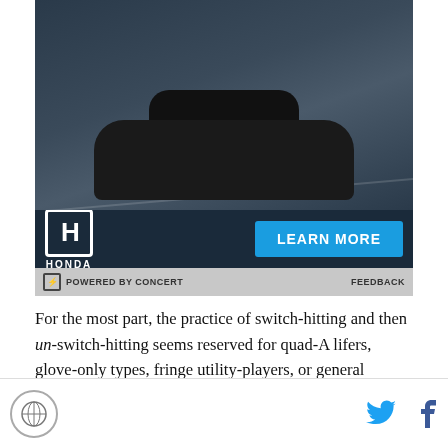[Figure (photo): Honda advertisement showing a dark car on a road with Honda logo and 'LEARN MORE' button]
POWERED BY CONCERT   FEEDBACK
For the most part, the practice of switch-hitting and then un-switch-hitting seems reserved for quad-A lifers, glove-only types, fringe utility-players, or general disappointments of one kind or another that were willing to try anything to keep their careers alive. It's a desperate act, perhaps, reserved only for when your back is against the wall. Consider that Bruce Ruffin made the list and he wasn't even a position player. He